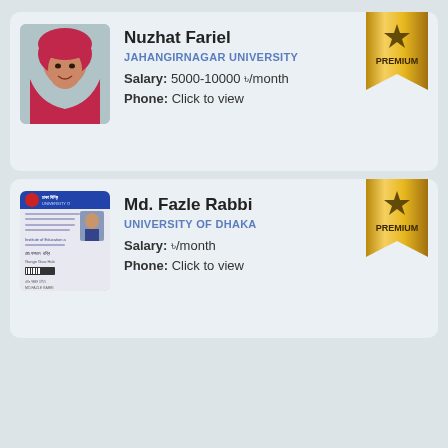[Figure (photo): Profile photo of Nuzhat Fariel, a woman wearing a red hijab, smiling]
Nuzhat Fariel
JAHANGIRNAGAR UNIVERSITY
Salary: 5000-10000 ৳/month
Phone: Click to view
[Figure (photo): ID card image for Md. Fazle Rabbi from Dhaka University]
Md. Fazle Rabbi
UNIVERSITY OF DHAKA
Salary: ৳/month
Phone: Click to view